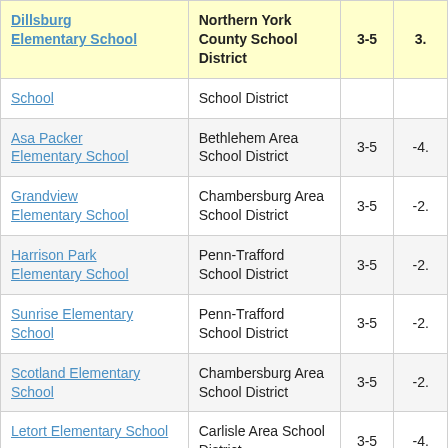| School | District | Grades | Score |
| --- | --- | --- | --- |
| Dillsburg Elementary School | Northern York County School District | 3-5 | 3. |
| School | School District |  |  |
| Asa Packer Elementary School | Bethlehem Area School District | 3-5 | -4. |
| Grandview Elementary School | Chambersburg Area School District | 3-5 | -2. |
| Harrison Park Elementary School | Penn-Trafford School District | 3-5 | -2. |
| Sunrise Elementary School | Penn-Trafford School District | 3-5 | -2. |
| Scotland Elementary School | Chambersburg Area School District | 3-5 | -2. |
| Letort Elementary School | Carlisle Area School District | 3-5 | -4. |